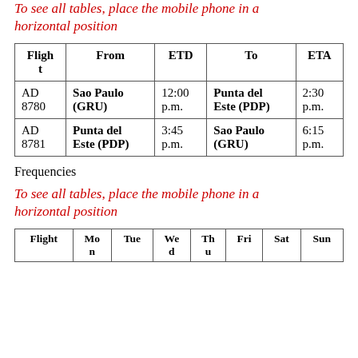To see all tables, place the mobile phone in a horizontal position
| Flight | From | ETD | To | ETA |
| --- | --- | --- | --- | --- |
| AD 8780 | Sao Paulo (GRU) | 12:00 p.m. | Punta del Este (PDP) | 2:30 p.m. |
| AD 8781 | Punta del Este (PDP) | 3:45 p.m. | Sao Paulo (GRU) | 6:15 p.m. |
Frequencies
To see all tables, place the mobile phone in a horizontal position
| Flight | Mon | Tue | Wed | Thu | Fri | Sat | Sun |
| --- | --- | --- | --- | --- | --- | --- | --- |